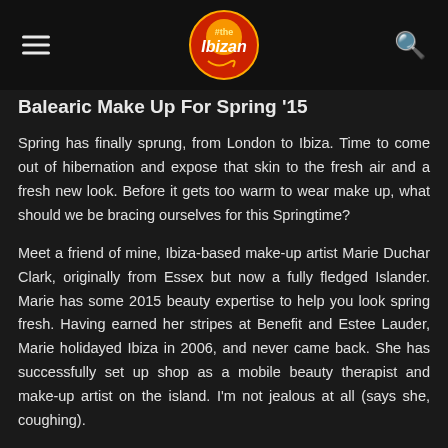The Ibizan
Balearic Make Up For Spring '15
Spring has finally sprung, from London to Ibiza. Time to come out of hibernation and expose that skin to the fresh air and a fresh new look. Before it gets too warm to wear make up, what should we be bracing ourselves for this Springtime?
Meet a friend of mine, Ibiza-based make-up artist Marie Duchar Clark, originally from Essex but now a fully fledged Islander. Marie has some 2015 beauty expertise to help you look spring fresh. Having earned her stripes at Benefit and Estee Lauder, Marie holidayed Ibiza in 2006, and never came back. She has successfully set up shop as a mobile beauty therapist and make-up artist on the island. I'm not jealous at all (says she, coughing).